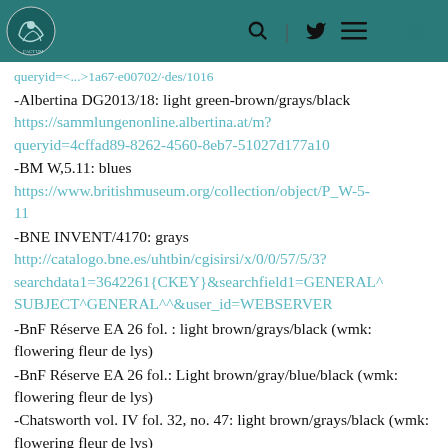Login
queryid=...
-Albertina DG2013/18: light green-brown/grays/black
https://sammlungenonline.albertina.at/m?queryid=4cffad89-8262-4560-8eb7-51027d177a10
-BM W,5.11: blues
https://www.britishmuseum.org/collection/object/P_W-5-11
-BNE INVENT/4170: grays
http://catalogo.bne.es/uhtbin/cgisirsi/x/0/0/57/5/3?searchdata1=3642261{CKEY}&searchfield1=GENERAL^SUBJECT^GENERAL^^&user_id=WEBSERVER
-BnF Réserve EA 26 fol. : light brown/grays/black (wmk: flowering fleur de lys)
-BnF Réserve EA 26 fol.: Light brown/gray/blue/black (wmk: flowering fleur de lys)
-Chatsworth vol. IV fol. 32, no. 47: light brown/grays/black (wmk: flowering fleur de lys)
-GDSU 64 st. sc.: dark blues
-GDSU 65 st. sc.: blues